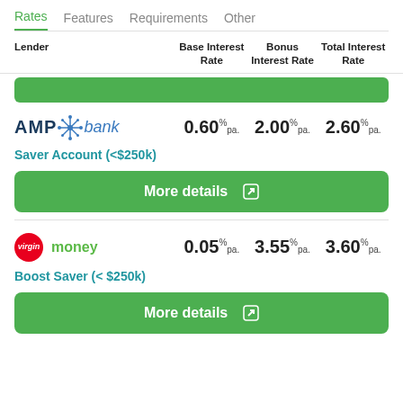Rates | Features | Requirements | Other
| Lender | Base Interest Rate | Bonus Interest Rate | Total Interest Rate |
| --- | --- | --- | --- |
| AMP bank | 0.60% pa. | 2.00% pa. | 2.60% pa. |
| Virgin money | 0.05% pa. | 3.55% pa. | 3.60% pa. |
Saver Account (<$250k)
More details
Boost Saver (< $250k)
More details